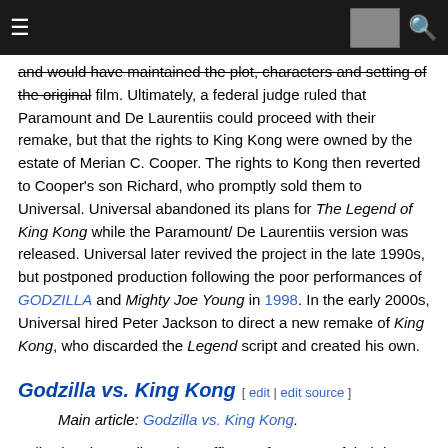[navigation bar with hamburger menu, thumbnail image, and search icon]
and would have maintained the plot, characters and setting of the original film. Ultimately, a federal judge ruled that Paramount and De Laurentiis could proceed with their remake, but that the rights to King Kong were owned by the estate of Merian C. Cooper. The rights to Kong then reverted to Cooper's son Richard, who promptly sold them to Universal. Universal abandoned its plans for The Legend of King Kong while the Paramount/ De Laurentiis version was released. Universal later revived the project in the late 1990s, but postponed production following the poor performances of GODZILLA and Mighty Joe Young in 1998. In the early 2000s, Universal hired Peter Jackson to direct a new remake of King Kong, who discarded the Legend script and created his own.
Godzilla vs. King Kong [ edit | edit source ]
Main article: Godzilla vs. King Kong.
Following the mediocre box office performance of their latest Godzilla film, Godzilla vs. Biollante, in 1989, Toho sought to make the next entry as profitable as possible. For this reason, the studio chose to remake the most successful Godzilla film to that point, King Kong vs. Godzilla, under the title Godzilla vs. King Kong. According to designer Shinji Nishikawa, the plot would have included King Kong falling in love with a human